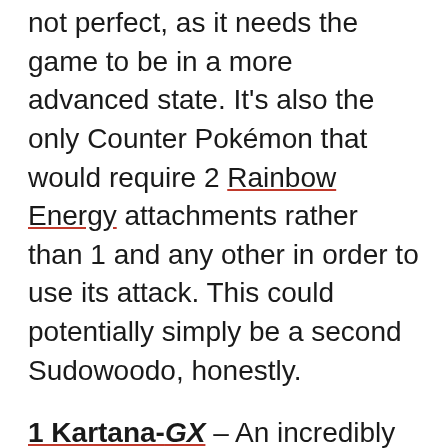not perfect, as it needs the game to be in a more advanced state. It's also the only Counter Pokémon that would require 2 Rainbow Energy attachments rather than 1 and any other in order to use its attack. This could potentially simply be a second Sudowoodo, honestly.
1 Kartana-GX – An incredibly underrated card in my opinion, its GX attack can help you run away with a win